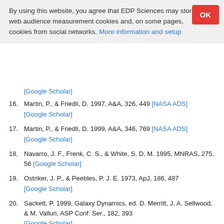By using this website, you agree that EDP Sciences may store web audience measurement cookies and, on some pages, cookies from social networks. More information and setup
[Google Scholar]
16. Martin, P., & Friedli, D. 1997, A&A, 326, 449 [NASA ADS] [Google Scholar]
17. Martin, P., & Friedli, D. 1999, A&A, 346, 769 [NASA ADS] [Google Scholar]
18. Navarro, J. F., Frenk, C. S., & White, S. D. M. 1995, MNRAS, 275, 56 [Google Scholar]
19. Ostriker, J. P., & Peebles, P. J. E. 1973, ApJ, 186, 487 [Google Scholar]
20. Sackett, P. 1999, Galaxy Dynamics, ed. D. Merritt, J. A. Sellwood, & M. Valluri, ASP Conf. Ser., 182, 393 [Google Scholar]
21. Sellwood, J. A. 1981, A&A, 99, 362 [NASA ADS] [Google Scholar]